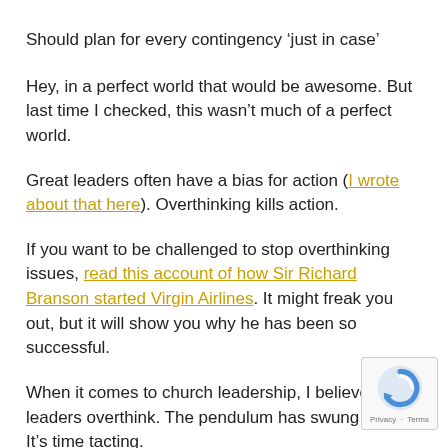Should plan for every contingency ‘just in case’
Hey, in a perfect world that would be awesome. But last time I checked, this wasn’t much of a perfect world.
Great leaders often have a bias for action (I wrote about that here). Overthinking kills action.
If you want to be challenged to stop overthinking issues, read this account of how Sir Richard Branson started Virgin Airlines. It might freak you out, but it will show you why he has been so successful.
When it comes to church leadership, I believe most leaders overthink. The pendulum has swung too far. It’s time t… acting.